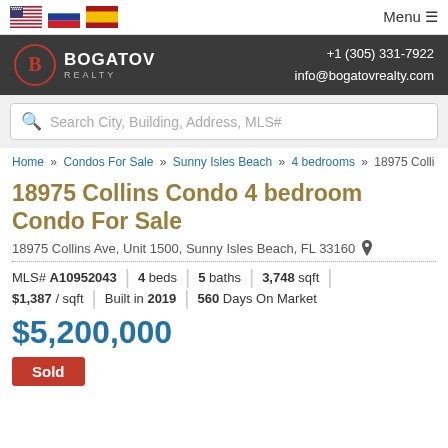Bogatov Realty | +1 (305) 331-7922 | info@bogatovrealty.com
Search City, Building, Address, MLS#
Home » Condos For Sale » Sunny Isles Beach » 4 bedrooms » 18975 Colli
18975 Collins Condo 4 bedroom Condo For Sale
18975 Collins Ave, Unit 1500, Sunny Isles Beach, FL 33160
MLS# A10952043 | 4 beds | 5 baths | 3,748 sqft | $1,387 / sqft | Built in 2019 | 560 Days On Market
$5,200,000
Sold